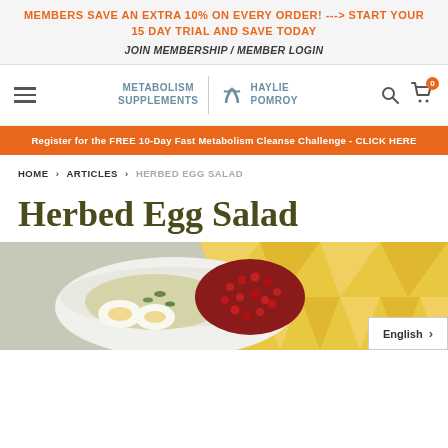MEMBERS SAVE AN EXTRA 10% ON EVERY ORDER! ---> START YOUR 15 DAY TRIAL AND SAVE TODAY JOIN MEMBERSHIP / MEMBER LOGIN
[Figure (logo): Metabolism Supplements | Haylie Pomroy logo with navigation icons including hamburger menu, search, and cart with 0 badge]
Register for the FREE 10-Day Fast Metabolism Cleanse Challenge - CLICK HERE
HOME > ARTICLES > HERBED EGG SALAD
Herbed Egg Salad
[Figure (photo): Photo of herbed egg salad in a white bowl with pomegranate seeds and yellow geometric napkin, with English language selector button]